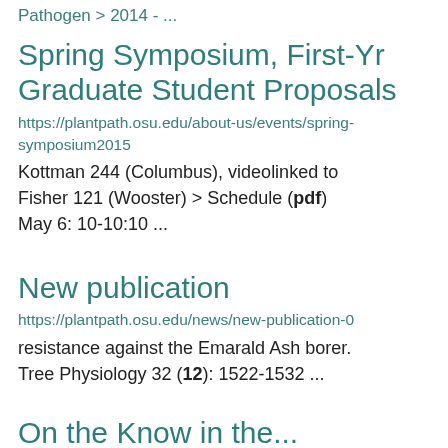Pathogen > 2014 - ...
Spring Symposium, First-Yr Graduate Student Proposals
https://plantpath.osu.edu/about-us/events/spring-symposium2015
Kottman 244 (Columbus), videolinked to Fisher 121 (Wooster) > Schedule (pdf) May 6: 10-10:10 ...
New publication
https://plantpath.osu.edu/news/new-publication-0
resistance against the Emarald Ash borer. Tree Physiology 32 (12): 1522-1532 ...
On the Know in the...